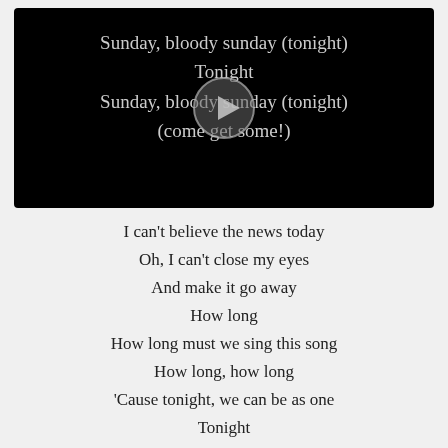[Figure (screenshot): Video player screenshot with black background showing lyrics: Sunday, bloody sunday (tonight) / Tonight / Sunday, bloody sunday (tonight) / (come get some!) with a play button overlay in the center]
I can't believe the news today
Oh, I can't close my eyes
And make it go away
How long
How long must we sing this song
How long, how long
'Cause tonight, we can be as one
Tonight